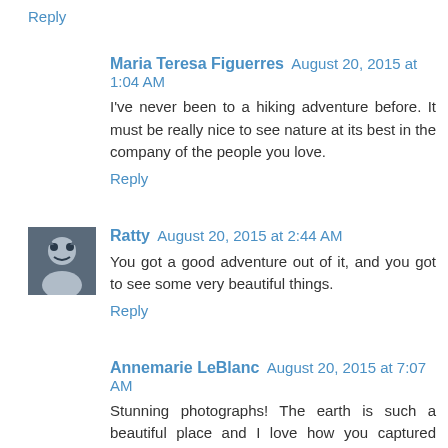Reply
Maria Teresa Figuerres August 20, 2015 at 1:04 AM
I've never been to a hiking adventure before. It must be really nice to see nature at its best in the company of the people you love.
Reply
Ratty August 20, 2015 at 2:44 AM
You got a good adventure out of it, and you got to see some very beautiful things.
Reply
Annemarie LeBlanc August 20, 2015 at 7:07 AM
Stunning photographs! The earth is such a beautiful place and I love how you captured nature in all its glory! I will be revisiting your site soon to view more pics. Thanks for